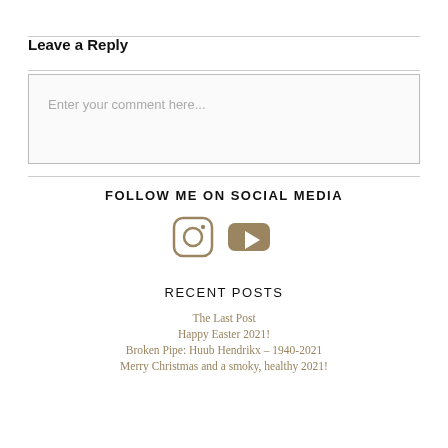Leave a Reply
Enter your comment here...
FOLLOW ME ON SOCIAL MEDIA
[Figure (illustration): Instagram and YouTube social media icons in tan/gold color]
RECENT POSTS
The Last Post
Happy Easter 2021!
Broken Pipe: Huub Hendrikx – 1940-2021
Merry Christmas and a smoky, healthy 2021!